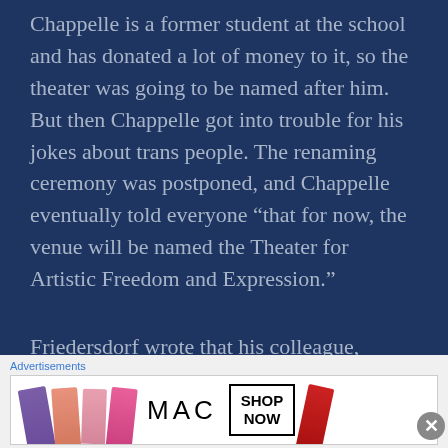Chappelle is a former student at the school and has donated a lot of money to it, so the theater was going to be named after him. But then Chappelle got into trouble for his jokes about trans people. The renaming ceremony was postponed, and Chappelle eventually told everyone “that for now, the venue will be named the Theater for Artistic Freedom and Expression.”
Friedersdorf wrote that his colleague, David Frum, had
[Figure (other): MAC Cosmetics advertisement banner showing colorful lipsticks and the MAC logo with a SHOP NOW call-to-action box]